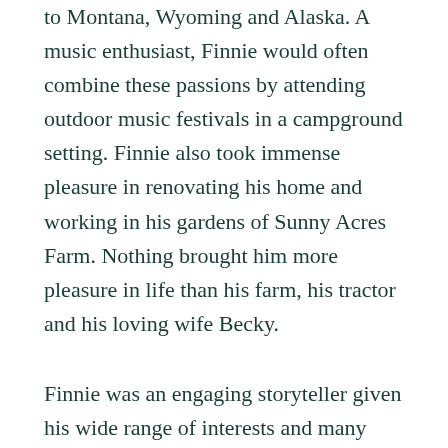to Montana, Wyoming and Alaska. A music enthusiast, Finnie would often combine these passions by attending outdoor music festivals in a campground setting. Finnie also took immense pleasure in renovating his home and working in his gardens of Sunny Acres Farm. Nothing brought him more pleasure in life than his farm, his tractor and his loving wife Becky.
Finnie was an engaging storyteller given his wide range of interests and many adventures in life. He never met a stranger and deeply cared about his patients. He was “in it to win it” in every aspect of his life and will truly never be forgotten.